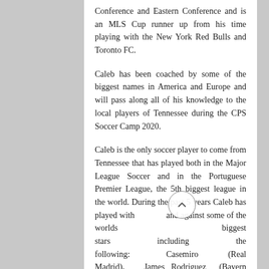Conference and Eastern Conference and is an MLS Cup runner up from his time playing with the New York Red Bulls and Toronto FC.
Caleb has been coached by some of the biggest names in America and Europe and will pass along all of his knowledge to the local players of Tennessee during the CPS Soccer Camp 2020.
Caleb is the only soccer player to come from Tennessee that has played both in the Major League Soccer and in the Portuguese Premier League, the 5th biggest league in the world. During the past 5 years Caleb has played with and against some of the worlds biggest stars including the following: Casemiro (Real Madrid), James Rodriguez (Bayern Munich), Otamendi (Man. City), Danilo (Man. City), Alex